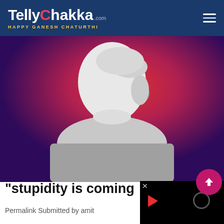TellyChakka.com — HAPPY GANESH CHATURTHI
[Figure (photo): Silhouette of a person against a red-to-purple gradient background, white silhouette shape of a person's head and shoulders]
"stupidity is coming
Permalink Submitted by amit